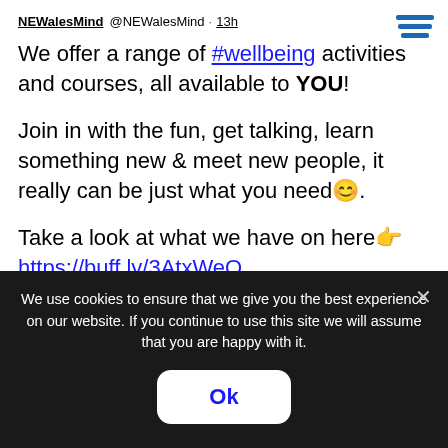NEWalesMind @NEWalesMind · 13h
We offer a range of #wellbeing activities and courses, all available to YOU!
Join in with the fun, get talking, learn something new & meet new people, it really can be just what you need😊.
Take a look at what we have on here👉 https://buff.ly/3AtxWeQ
We use cookies to ensure that we give you the best experience on our website. If you continue to use this site we will assume that you are happy with it.